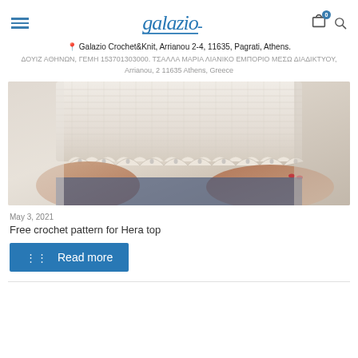Galazio Crochet&Knit navigation header with logo and cart/search icons
📍 Galazio Crochet&Knit, Arrianou 2-4, 11635, Pagrati, Athens. ΔΟΥΙΖ ΑΘΗΝΩΝ, ΓΕΜΗ 153701303000. ΤΣΑΛΛΑ ΜΑΡΙΑ ΛΙΑΝΙΚΟ ΕΜΠΟΡΙΟ ΜΕΣΩ ΔΙΑΔΙΚΤΥΟΥ, Arrianou, 2 11635 Athens, Greece
[Figure (photo): Close-up photo of a person wearing a cream/white knitted crochet top with decorative scalloped lace trim at the bottom hem, held in hands with red-painted nails visible]
May 3, 2021
Free crochet pattern for Hera top
Read more